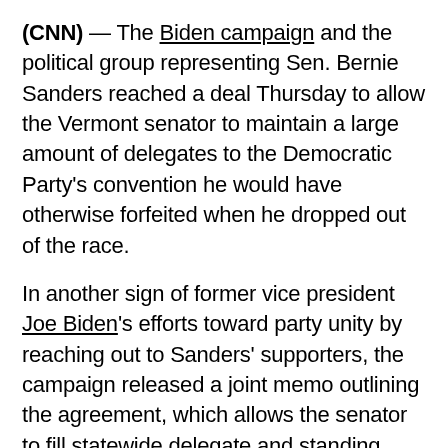(CNN) — The Biden campaign and the political group representing Sen. Bernie Sanders reached a deal Thursday to allow the Vermont senator to maintain a large amount of delegates to the Democratic Party's convention he would have otherwise forfeited when he dropped out of the race.
In another sign of former vice president Joe Biden's efforts toward party unity by reaching out to Sanders' supporters, the campaign released a joint memo outlining the agreement, which allows the senator to fill statewide delegate and standing convention committee slots he would have been eligible for as if he still had an active campaign.
The deal came out of a series of talks led by Biden campaign senior adviser Anita Dunn and Sanders campaign senior adviser Jeff Weaver